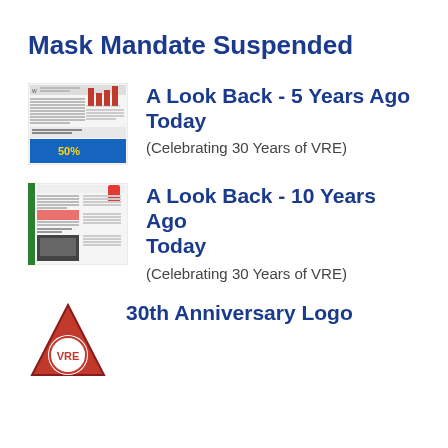Mask Mandate Suspended
A Look Back - 5 Years Ago Today
(Celebrating 30 Years of VRE)
A Look Back - 10 Years Ago Today
(Celebrating 30 Years of VRE)
30th Anniversary Logo